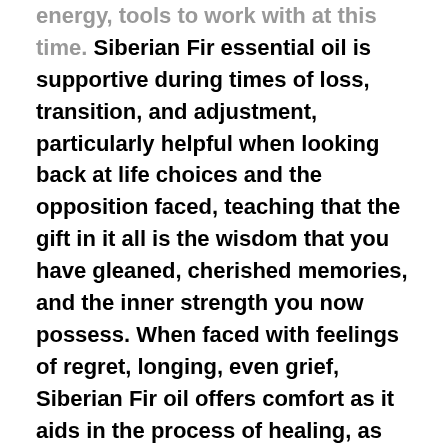energy, tools to work with at this time. Siberian Fir essential oil is supportive during times of loss, transition, and adjustment, particularly helpful when looking back at life choices and the opposition faced, teaching that the gift in it all is the wisdom that you have gleaned, cherished memories, and the inner strength you now possess. When faced with feelings of regret, longing, even grief, Siberian Fir oil offers comfort as it aids in the process of healing, as well as forgiveness and reconciliation. Reminding you of your value and how needed you are in the world, Siberian Fir essence is also a gift in generational healing, as it helps bring peace to the seasoned heart.
Optical Calcite is exceptionally for...